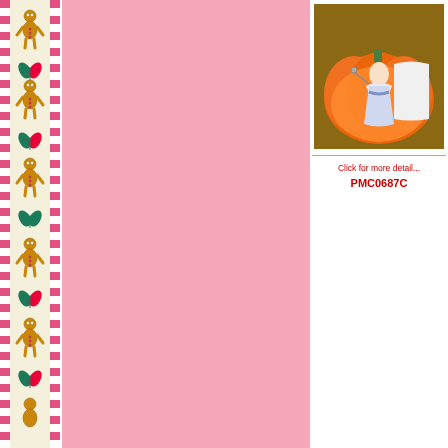[Figure (illustration): Decorative left border with gingerbread man figures, floral/leaf motifs, and pink checkerboard edge pattern on cream background]
[Figure (photo): A Precious Moments doll (Cinderella-style) in a white/blue dress displayed inside an orange pumpkin-shaped container with accessories]
Click for more detail...
PMC0687C